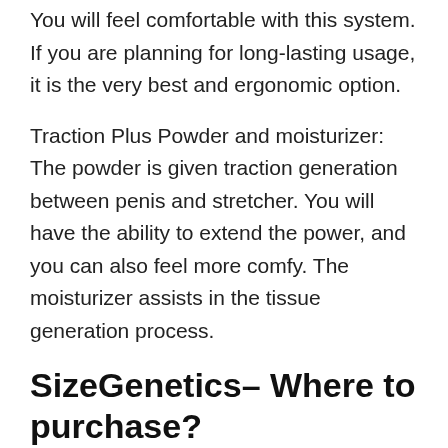You will feel comfortable with this system. If you are planning for long-lasting usage, it is the very best and ergonomic option.
Traction Plus Powder and moisturizer: The powder is given traction generation between penis and stretcher. You will have the ability to extend the power, and you can also feel more comfy. The moisturizer assists in the tissue generation process.
SizeGenetics– Where to purchase?
You should check out the official site and order SizeGenetics. When you purchase the item from the main site, you will got SizeGenetics from the initial